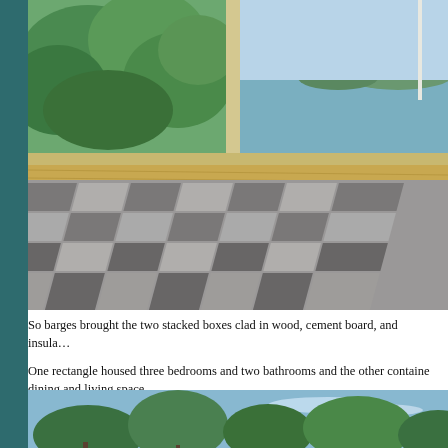[Figure (photo): Interior bedroom photo with large floor-to-ceiling windows overlooking green trees and a body of water/bay. A textured gray geometric-patterned quilt/blanket covers the lower half of the image in the foreground.]
So barges brought the two stacked boxes clad in wood, cement board, and insulated panels to the site.
One rectangle housed three bedrooms and two bathrooms and the other contained the kitchen, dining and living space.
[Figure (photo): Exterior view looking up at tall evergreen trees against a blue sky with light clouds.]